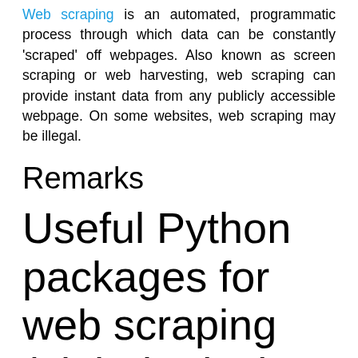Web scraping is an automated, programmatic process through which data can be constantly 'scraped' off webpages. Also known as screen scraping or web harvesting, web scraping can provide instant data from any publicly accessible webpage. On some websites, web scraping may be illegal.
Remarks
Useful Python packages for web scraping (alphabetical order)